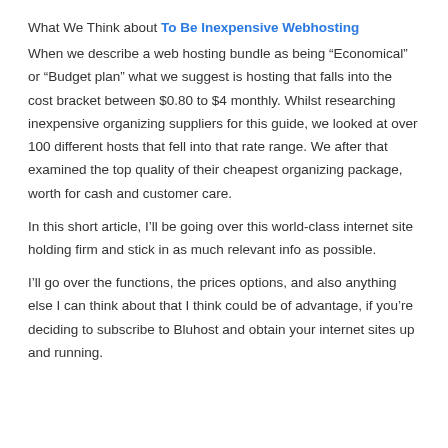What We Think about To Be Inexpensive Webhosting
When we describe a web hosting bundle as being “Economical” or “Budget plan” what we suggest is hosting that falls into the cost bracket between $0.80 to $4 monthly. Whilst researching inexpensive organizing suppliers for this guide, we looked at over 100 different hosts that fell into that rate range. We after that examined the top quality of their cheapest organizing package, worth for cash and customer care.
In this short article, I’ll be going over this world-class internet site holding firm and stick in as much relevant info as possible.
I’ll go over the functions, the prices options, and also anything else I can think about that I think could be of advantage, if you’re deciding to subscribe to Bluhost and obtain your internet sites up and running.